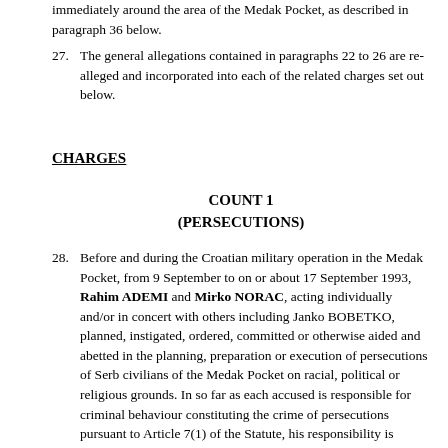immediately around the area of the Medak Pocket, as described in paragraph 36 below.
27. The general allegations contained in paragraphs 22 to 26 are re-alleged and incorporated into each of the related charges set out below.
CHARGES
COUNT 1
(PERSECUTIONS)
28. Before and during the Croatian military operation in the Medak Pocket, from 9 September to on or about 17 September 1993, Rahim ADEMI and Mirko NORAC, acting individually and/or in concert with others including Janko BOBETKO, planned, instigated, ordered, committed or otherwise aided and abetted in the planning, preparation or execution of persecutions of Serb civilians of the Medak Pocket on racial, political or religious grounds. In so far as each accused is responsible for criminal behaviour constituting the crime of persecutions pursuant to Article 7(1) of the Statute, his responsibility is established, inter alia, by evidence of his presence at the relevant time in the areas where such behaviour occurred, his ensuing awareness of the behaviour, steps taken by him to restrict access to the